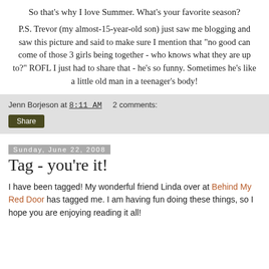So that's why I love Summer. What's your favorite season?
P.S. Trevor (my almost-15-year-old son) just saw me blogging and saw this picture and said to make sure I mention that "no good can come of those 3 girls being together - who knows what they are up to?" ROFL I just had to share that - he's so funny. Sometimes he's like a little old man in a teenager's body!
Jenn Borjeson at 8:11 AM   2 comments:
Share
Sunday, June 22, 2008
Tag - you're it!
I have been tagged! My wonderful friend Linda over at Behind My Red Door has tagged me. I am having fun doing these things, so I hope you are enjoying reading it all!